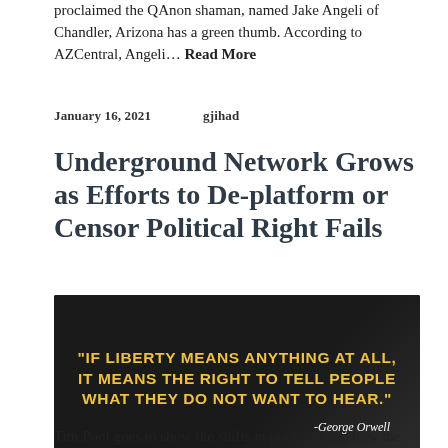proclaimed the QAnon shaman, named Jake Angeli of Chandler, Arizona has a green thumb. According to AZCentral, Angeli… Read More
January 16, 2021    gjihad
Underground Network Grows as Efforts to De-platform or Censor Political Right Fails
[Figure (photo): Dark image with yellow bold text quote: "IF LIBERTY MEANS ANYTHING AT ALL, IT MEANS THE RIGHT TO TELL PEOPLE WHAT THEY DO NOT WANT TO HEAR." attributed to -George Orwell]
Tim Pool goes to show the shifts in priorities and how the